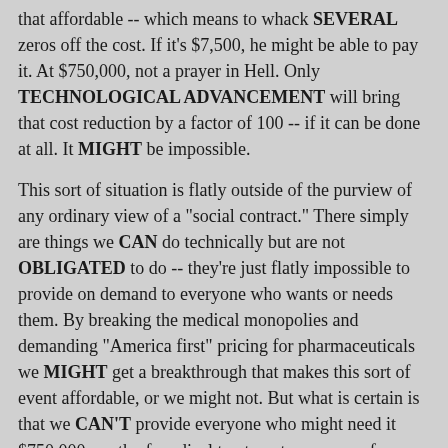that affordable -- which means to whack SEVERAL zeros off the cost. If it's $7,500, he might be able to pay it. At $750,000, not a prayer in Hell. Only TECHNOLOGICAL ADVANCEMENT will bring that cost reduction by a factor of 100 -- if it can be done at all. It MIGHT be impossible.
This sort of situation is flatly outside of the purview of any ordinary view of a "social contract." There simply are things we CAN do technically but are not OBLIGATED to do -- they're just flatly impossible to provide on demand to everyone who wants or needs them. By breaking the medical monopolies and demanding "America first" pricing for pharmaceuticals we MIGHT get a breakthrough that makes this sort of event affordable, or we might not. But what is certain is that we CAN'T provide everyone who might need it $750,000 worth of medical treatment every year for LIFE.
You claim that it's unreasonable to drop into medical indigence. I claim that it's FAR WORSE to BANKRUPT an employer, putting EVERYONE in the firm out of work or steal thousands per person who works for said firm AT GUNPOINT, which is what you propose. The bill outline proposed provides a safety net. Yes, it results in the person in question winding up with a MONSTROUS tax liability they'll never pay, and when they die it will die with them. But in the meantime they have an